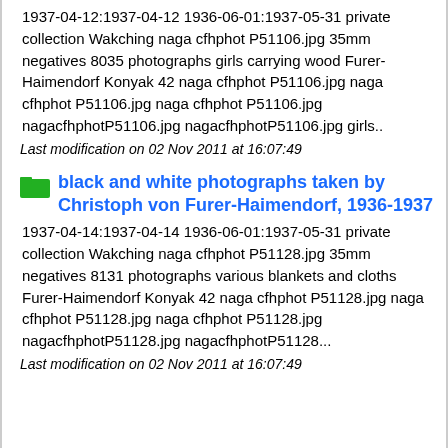1937-04-12:1937-04-12 1936-06-01:1937-05-31 private collection Wakching naga cfhphot P51106.jpg 35mm negatives 8035 photographs girls carrying wood Furer-Haimendorf Konyak 42 naga cfhphot P51106.jpg naga cfhphot P51106.jpg naga cfhphot P51106.jpg nagacfhphotP51106.jpg nagacfhphotP51106.jpg girls..
Last modification on 02 Nov 2011 at 16:07:49
black and white photographs taken by Christoph von Furer-Haimendorf, 1936-1937
1937-04-14:1937-04-14 1936-06-01:1937-05-31 private collection Wakching naga cfhphot P51128.jpg 35mm negatives 8131 photographs various blankets and cloths Furer-Haimendorf Konyak 42 naga cfhphot P51128.jpg naga cfhphot P51128.jpg naga cfhphot P51128.jpg nagacfhphotP51128.jpg nagacfhphotP51128...
Last modification on 02 Nov 2011 at 16:07:49